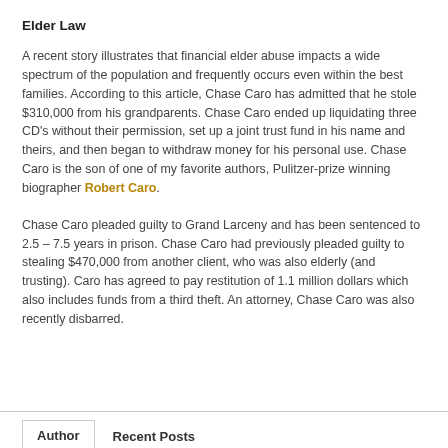Elder Law
A recent story illustrates that financial elder abuse impacts a wide spectrum of the population and frequently occurs even within the best families. According to this article, Chase Caro has admitted that he stole $310,000 from his grandparents. Chase Caro ended up liquidating three CD's without their permission, set up a joint trust fund in his name and theirs, and then began to withdraw money for his personal use. Chase Caro is the son of one of my favorite authors, Pulitzer-prize winning biographer Robert Caro.
Chase Caro pleaded guilty to Grand Larceny and has been sentenced to 2.5 – 7.5 years in prison. Chase Caro had previously pleaded guilty to stealing $470,000 from another client, who was also elderly (and trusting). Caro has agreed to pay restitution of 1.1 million dollars which also includes funds from a third theft. An attorney, Chase Caro was also recently disbarred.
Author	Recent Posts